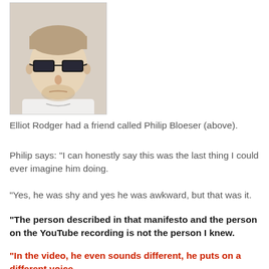[Figure (photo): Headshot photo of a young man wearing dark sunglasses and a white shirt, with short hair and light stubble, looking directly at camera against a light background.]
Elliot Rodger had a friend called Philip Bloeser (above).
Philip says: "I can honestly say this was the last thing I could ever imagine him doing.
"Yes, he was shy and yes he was awkward, but that was it.
"The person described in that manifesto and the person on the YouTube recording is not the person I knew.
"In the video, he even sounds different, he puts on a different voice.